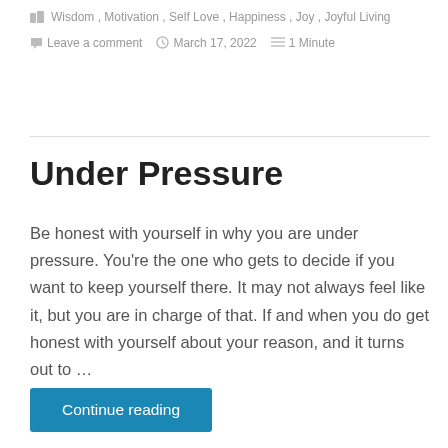Wisdom, Motivation, Self Love, Happiness, Joy, Joyful Living
Leave a comment   March 17, 2022   1 Minute
Under Pressure
Be honest with yourself in why you are under pressure. You're the one who gets to decide if you want to keep yourself there. It may not always feel like it, but you are in charge of that. If and when you do get honest with yourself about your reason, and it turns out to …
Continue reading